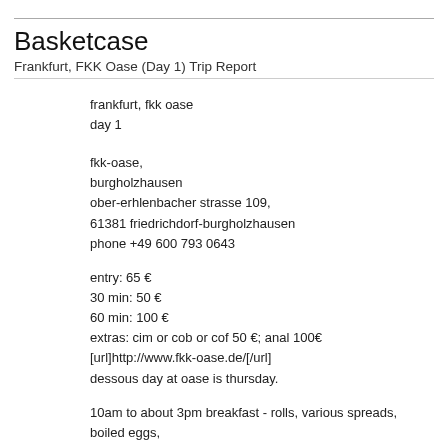Basketcase
Frankfurt, FKK Oase (Day 1) Trip Report
frankfurt, fkk oase
day 1
fkk-oase,
burgholzhausen
ober-erhlenbacher strasse 109,
61381 friedrichdorf-burgholzhausen
phone +49 600 793 0643
entry: 65 €
30 min: 50 €
60 min: 100 €
extras: cim or cob or cof 50 €; anal 100€
[url]http://www.fkk-oase.de/[/url]
dessous day at oase is thursday.
10am to about 3pm breakfast - rolls, various spreads, boiled eggs,
1st dinner: 5:30 to 6:30pm (or until food runs out) – bbq schwein, b bone in, two types of bbq wurst, pasta and ham salad, potato salac berg lettuce leaf, and slaw in a vinegar dressing.